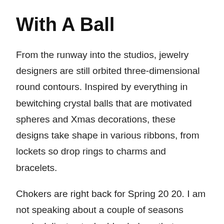With A Ball
From the runway into the studios, jewelry designers are still orbited three-dimensional round contours. Inspired by everything in bewitching crystal balls that are motivated spheres and Xmas decorations, these designs take shape in various ribbons, from lockets so drop rings to charms and bracelets.
Chokers are right back for Spring 20 20. I am not speaking about a couple of seasons ago's delicate stack-able chokers that carry on to get worn layering principles.